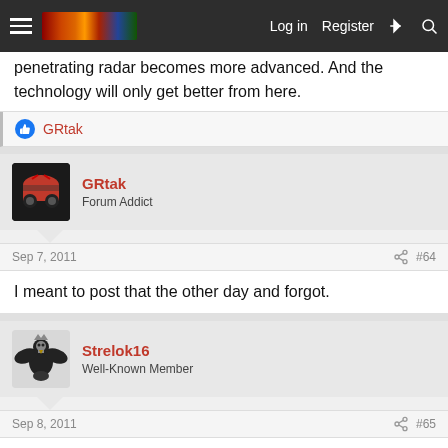Nav bar with hamburger menu, logo, Log in, Register, lightning and search icons
penetrating radar becomes more advanced. And the technology will only get better from here.
GRtak
GRtak
Forum Addict
Sep 7, 2011
#64
I meant to post that the other day and forgot.
Strelok16
Well-Known Member
Sep 8, 2011
#65
That's funny, I'd actually seen it on the TV news the other day, meant to post it, and forgot. I was only reminded about it when I